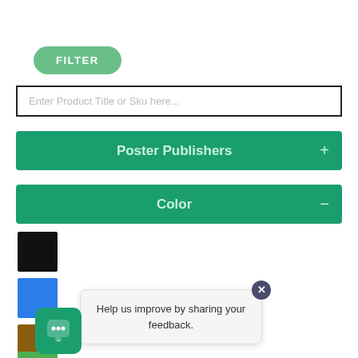[Figure (screenshot): Green rounded FILTER button]
Enter Product Title or Sku here...
Poster Publishers +
Color -
[Figure (other): Color swatches: black, blue, brown, green, grey]
[Figure (other): Chatbot feedback popup: Help us improve by sharing your feedback.]